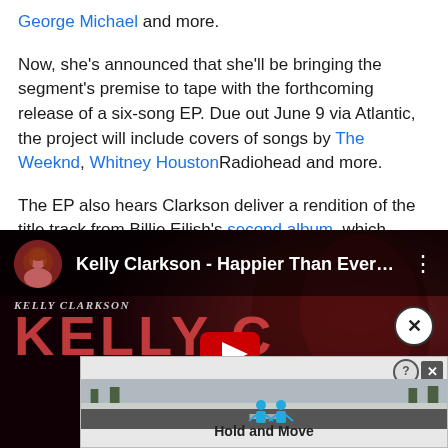George Michael and more.
Now, she's announced that she'll be bringing the segment's premise to tape with the forthcoming release of a six-song EP. Due out June 9 via Atlantic, the project will include covers of songs by The Weeknd, Whitney HoustonRadiohead and more.
The EP also hears Clarkson deliver a rendition of the title track from Billie Eilish's second album, which arrived last summer. You can listen to Clarkson's rendition below.
[Figure (screenshot): YouTube embed showing Kelly Clarkson - Happier Than Ever... with avatar, title, dark red background with Kelly Clarkson branding, and an advertisement overlay for Hold and Move]